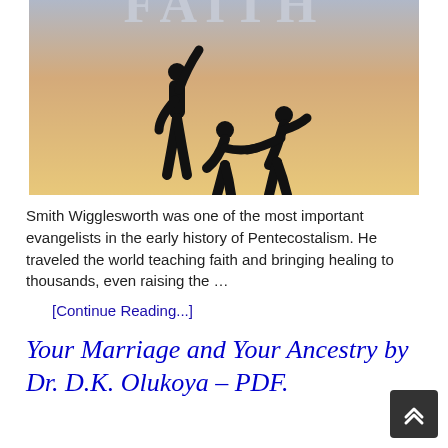[Figure (illustration): Book cover image showing silhouettes of two people in what appears to be a healing/prayer scene against a warm gradient background, with the word FAITH partially visible at the top]
Smith Wigglesworth was one of the most important evangelists in the early history of Pentecostalism. He traveled the world teaching faith and bringing healing to thousands, even raising the …
[Continue Reading...]
Your Marriage and Your Ancestry by Dr. D.K. Olukoya – PDF.